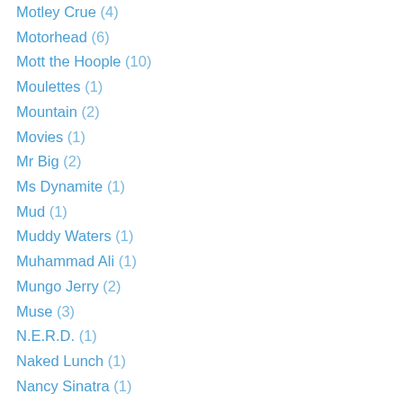Motley Crue (4)
Motorhead (6)
Mott the Hoople (10)
Moulettes (1)
Mountain (2)
Movies (1)
Mr Big (2)
Ms Dynamite (1)
Mud (1)
Muddy Waters (1)
Muhammad Ali (1)
Mungo Jerry (2)
Muse (3)
N.E.R.D. (1)
Naked Lunch (1)
Nancy Sinatra (1)
Nash the Slash (2)
Nashville Teens (2)
Natural Acoustic Band (1)
Nazareth (8)